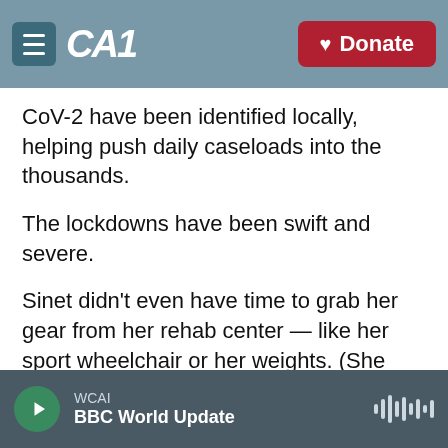CAI | Donate
CoV-2 have been identified locally, helping push daily caseloads into the thousands.
The lockdowns have been swift and severe.
Sinet didn't even have time to grab her gear from her rehab center — like her sport wheelchair or her weights. (She only uses the wheelchair for basketball and otherwise uses her leg brace and a crutch to get around.)
But she did have a phone.
Soon she was practicing virtually.
WCAI | BBC World Update